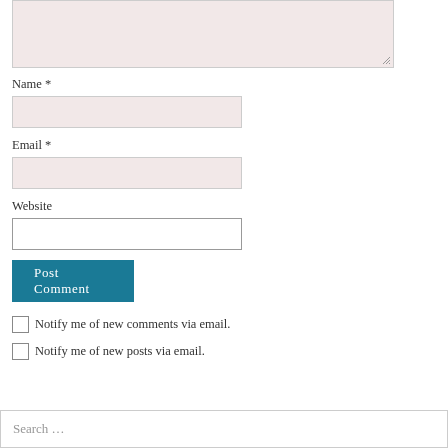[Figure (screenshot): Textarea input box with pink/rose background and resize handle in bottom right corner]
Name *
[Figure (screenshot): Name input field with pink/rose background]
Email *
[Figure (screenshot): Email input field with pink/rose background]
Website
[Figure (screenshot): Website input field with white background and grey border]
[Figure (screenshot): Post Comment button in teal/dark cyan color]
Notify me of new comments via email.
Notify me of new posts via email.
Search ...